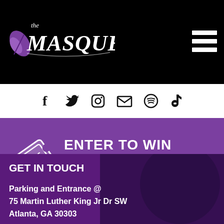[Figure (logo): The Masquerade logo in white on black background with purple feather/mask icon]
[Figure (infographic): Hamburger menu icon (three horizontal white lines) in top right of black header]
[Figure (infographic): Social media icons row: Facebook, Twitter, Instagram, Email, Spotify, TikTok on white bar]
[Figure (infographic): Purple promotional band with white ticket icon and ENTER TO WIN text]
ENTER TO WIN
Click here for exciting contests and ticket giveaways!
GET IN TOUCH
Parking and Entrance @
75 Martin Luther King Jr Dr SW
Atlanta, GA 30303